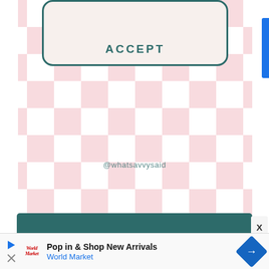[Figure (screenshot): Pink and white checkerboard background pattern filling upper portion of the page]
ACCEPT
@whatsavvysaid
[Figure (screenshot): Teal/dark green banner bar near bottom of checkerboard area]
Pop in & Shop New Arrivals
World Market